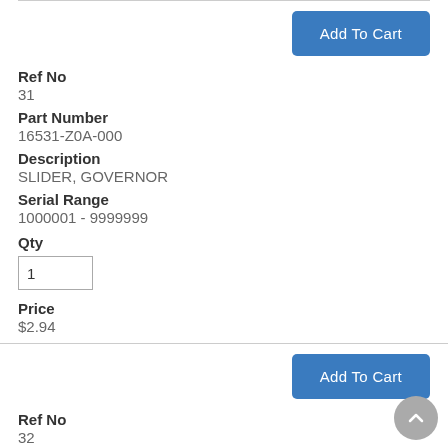Add To Cart
Ref No
31
Part Number
16531-Z0A-000
Description
SLIDER, GOVERNOR
Serial Range
1000001 - 9999999
Qty
1
Price
$2.94
Add To Cart
Ref No
32
Part Number